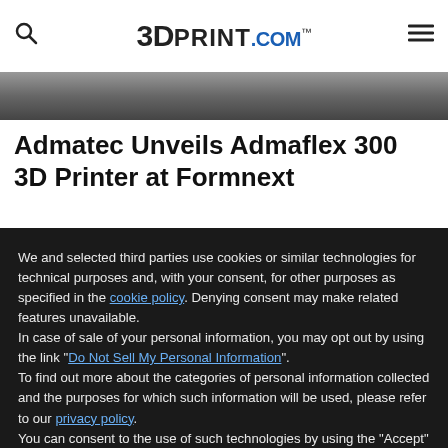3DPrint.com
[Figure (photo): Dark metallic background photo strip]
Admatec Unveils Admaflex 300 3D Printer at Formnext
We and selected third parties use cookies or similar technologies for technical purposes and, with your consent, for other purposes as specified in the cookie policy. Denying consent may make related features unavailable.
In case of sale of your personal information, you may opt out by using the link "Do Not Sell My Personal Information".
To find out more about the categories of personal information collected and the purposes for which such information will be used, please refer to our privacy policy.
You can consent to the use of such technologies by using the "Accept" button, by scrolling this page, by interacting with any link or button outside of this notice or by continuing to browse otherwise.
Reject
Accept
Learn more and customize